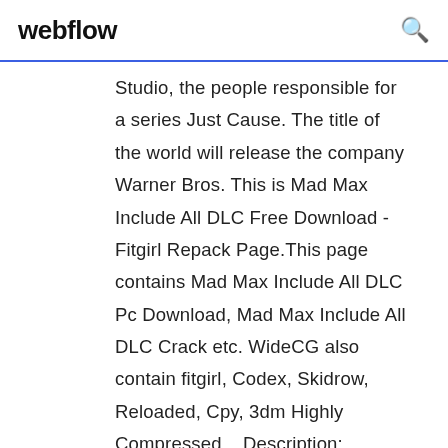webflow
Studio, the people responsible for a series Just Cause. The title of the world will release the company Warner Bros. This is Mad Max Include All DLC Free Download - Fitgirl Repack Page.This page contains Mad Max Include All DLC Pc Download, Mad Max Include All DLC Crack etc. WideCG also contain fitgirl, Codex, Skidrow, Reloaded, Cpy, 3dm Highly Compressed... Description: Become Mad Max, a lone warrior in the wild post-apocalyptic world, where the key to survival is a car. In this world full of dangers, the action comes from a third person. best free full pc games download sites,best free pc games no download,best free